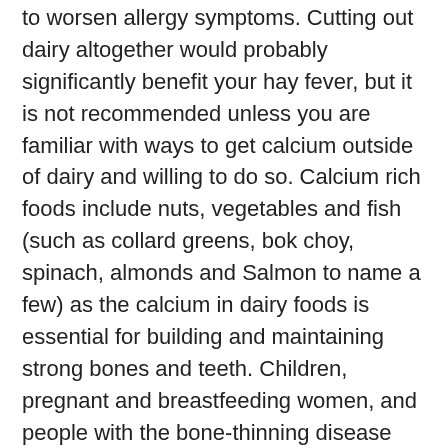to worsen allergy symptoms. Cutting out dairy altogether would probably significantly benefit your hay fever, but it is not recommended unless you are familiar with ways to get calcium outside of dairy and willing to do so. Calcium rich foods include nuts, vegetables and fish (such as collard greens, bok choy, spinach, almonds and Salmon to name a few) as the calcium in dairy foods is essential for building and maintaining strong bones and teeth. Children, pregnant and breastfeeding women, and people with the bone-thinning disease osteoporosis need substantial amounts of calcium and in our communities often dairy is the best option. If you do choose to avoid dairy you can also use almond milk and rice milk, which if fortified with calcium, can be used as a replacement. Unless you belong to one of the groups mentioned above, try to limit your consumption of animal milk products or cut them out altogether.
Desensitization therapies – Some allergists can identify your allergen and help you desensitize to it